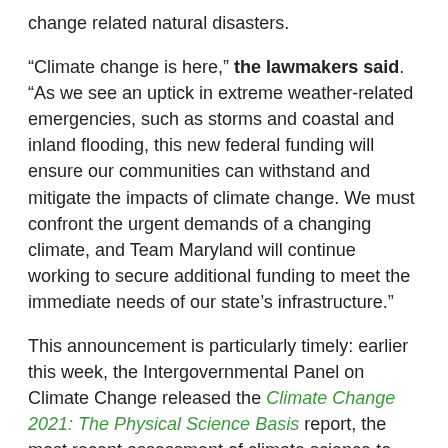change related natural disasters.
“Climate change is here,” the lawmakers said. “As we see an uptick in extreme weather-related emergencies, such as storms and coastal and inland flooding, this new federal funding will ensure our communities can withstand and mitigate the impacts of climate change. We must confront the urgent demands of a changing climate, and Team Maryland will continue working to secure additional funding to meet the immediate needs of our state’s infrastructure.”
This announcement is particularly timely: earlier this week, the Intergovernmental Panel on Climate Change released the Climate Change 2021: The Physical Science Basis report, the most recent assessment of climate science to confirm the impacts are widespread and rapidly intensifying.